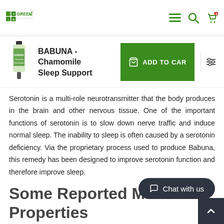GreenLife Natural Food & Beverage Bar — navigation header
BABUNA - Chamomile Sleep Support
Serotonin is a multi-role neurotransmitter that the body produces in the brain and other nervous tissue. One of the important functions of serotonin is to slow down nerve traffic and induce normal sleep. The inability to sleep is often caused by a serotonin deficiency. Via the proprietary process used to produce Babuna, this remedy has been designed to improve serotonin function and therefore improve sleep.
Some Reported Me… Properties